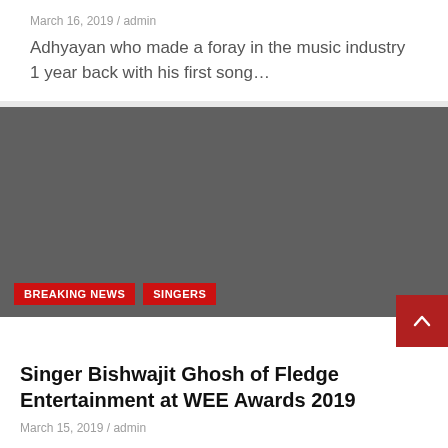March 16, 2019 / admin
Adhyayan who made a foray in the music industry 1 year back with his first song…
[Figure (photo): Dark gray placeholder image for an article about Singer Bishwajit Ghosh, with red badges reading BREAKING NEWS and SINGERS overlaid at the bottom left, and a red scroll-to-top button at the bottom right.]
Singer Bishwajit Ghosh of Fledge Entertainment at WEE Awards 2019
March 15, 2019 / admin